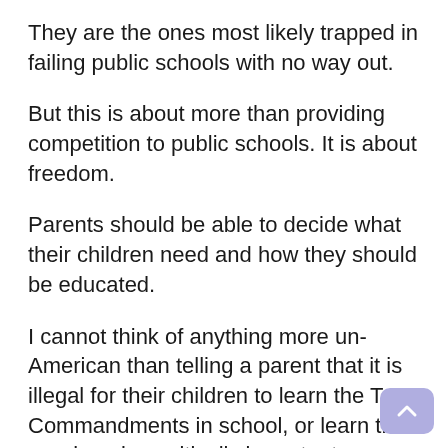They are the ones most likely trapped in failing public schools with no way out.
But this is about more than providing competition to public schools. It is about freedom.
Parents should be able to decide what their children need and how they should be educated.
I cannot think of anything more un-American than telling a parent that it is illegal for their children to learn the Ten Commandments in school, or learn that marriage is a critically important sacrament between one man and one woman, or that life is sacred from the beginning of its journey in the womb.
And I cannot think of a more destructive institution than the teachers unions that are on